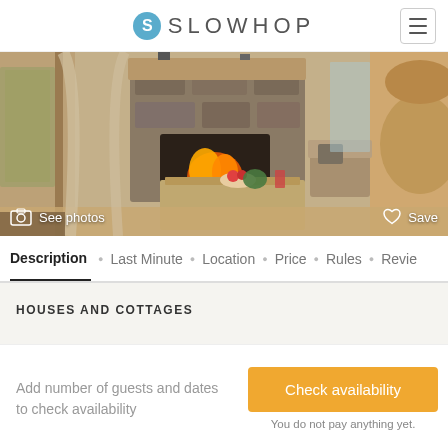SLOWHOP
[Figure (photo): Interior of a cozy wooden cabin with a stone fireplace, wooden coffee table, and rustic furnishings]
Description • Last Minute • Location • Price • Rules • Reviews
HOUSES AND COTTAGES
Add number of guests and dates to check availability
Check availability
You do not pay anything yet.